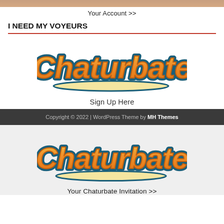Your Account >>
I NEED MY VOYEURS
[Figure (logo): Chaturbate logo - orange and teal cursive script wordmark with underline flourish]
Sign Up Here
Copyright © 2022 | WordPress Theme by MH Themes
[Figure (logo): Chaturbate logo - orange and teal cursive script wordmark with underline flourish]
Your Chaturbate Invitation >>